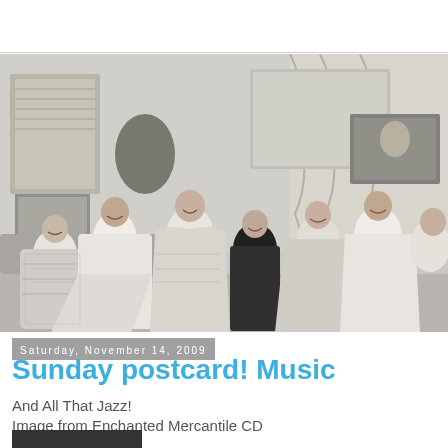[Figure (photo): Black and white vintage photograph of seven women indoors, laughing and posing while wearing dresses made from or decorated with newspaper/magazine pages. A framed painting and other home furnishings are visible in the background.]
Saturday, November 14, 2009
Sunday postcard! Music
And All That Jazz!
Image from Enchanted Mercantile CD
[Figure (photo): Small thumbnail image partially visible at the bottom of the page, appears to be a colorful photograph.]